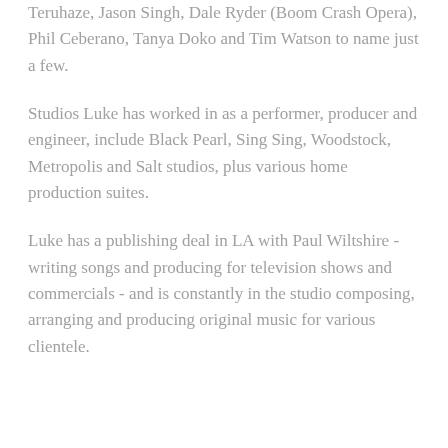Teruhaze, Jason Singh, Dale Ryder (Boom Crash Opera), Phil Ceberano, Tanya Doko and Tim Watson to name just a few.
Studios Luke has worked in as a performer, producer and engineer, include Black Pearl, Sing Sing, Woodstock, Metropolis and Salt studios, plus various home production suites.
Luke has a publishing deal in LA with Paul Wiltshire - writing songs and producing for television shows and commercials - and is constantly in the studio composing, arranging and producing original music for various clientele.